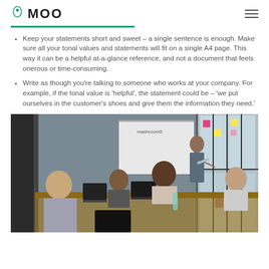MOO
Keep your statements short and sweet – a single sentence is enough. Make sure all your tonal values and statements will fit on a single A4 page. This way it can be a helpful at-a-glance reference, and not a document that feels onerous or time-consuming.
Write as though you're talking to someone who works at your company. For example, if the tonal value is 'helpful', the statement could be – 'we put ourselves in the customer's shoes and give them the information they need.'
[Figure (photo): A business meeting scene with several people seated around a table with laptops, and a man standing at a whiteboard labeled 'mashroom5', presenting to the group in a room with large windows.]